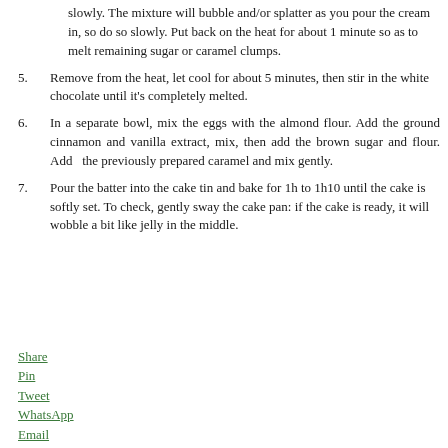slowly. The mixture will bubble and/or splatter as you pour the cream in, so do so slowly. Put back on the heat for about 1 minute so as to melt remaining sugar or caramel clumps.
5. Remove from the heat, let cool for about 5 minutes, then stir in the white chocolate until it's completely melted.
6. In a separate bowl, mix the eggs with the almond flour. Add the ground cinnamon and vanilla extract, mix, then add the brown sugar and flour. Add the previously prepared caramel and mix gently.
7. Pour the batter into the cake tin and bake for 1h to 1h10 until the cake is softly set. To check, gently sway the cake pan: if the cake is ready, it will wobble a bit like jelly in the middle.
Share
Pin
Tweet
WhatsApp
Email